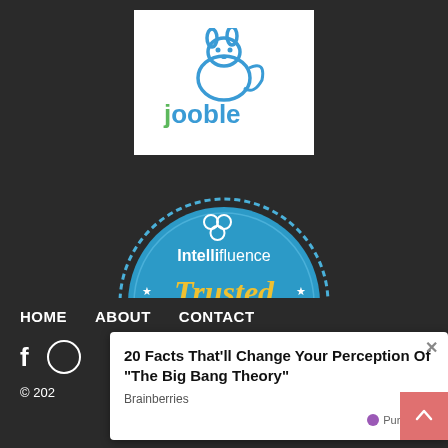[Figure (logo): Jooble logo: blue rabbit/squirrel icon above text 'jooble' in green and blue on white background]
[Figure (logo): Intellifluence Trusted Blogger badge: blue circular badge with honeycomb icon at top, text 'Intellifluence' in white, 'Trusted' in yellow italic script, 'BLOGGER' in white on yellow ribbon banner, decorative stars around the circle]
HOME   ABOUT   CONTACT
© 202
20 Facts That'll Change Your Perception Of "The Big Bang Theory"
Brainberries
PurpleAds